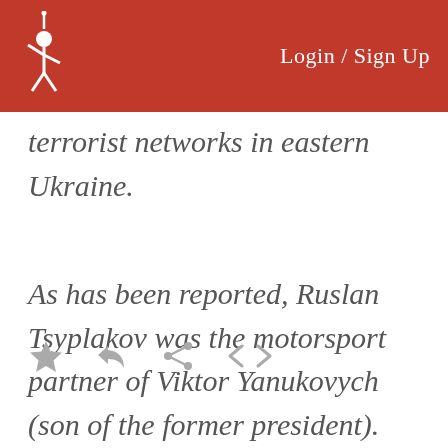Login / Sign Up
terrorist networks in eastern Ukraine.
As has been reported, Ruslan Tsyplakov was the motorsport partner of Viktor Yanukovych (son of the former president).